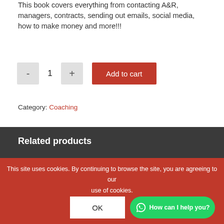This book covers everything from contacting A&R, managers, contracts, sending out emails, social media, how to make money and more!!!
- 1 +  Add to cart
Category: Coaching
Related products
This site uses cookies. By continuing to browse the site, you are agreeing to our use of cookies.
OK
How can I help you?